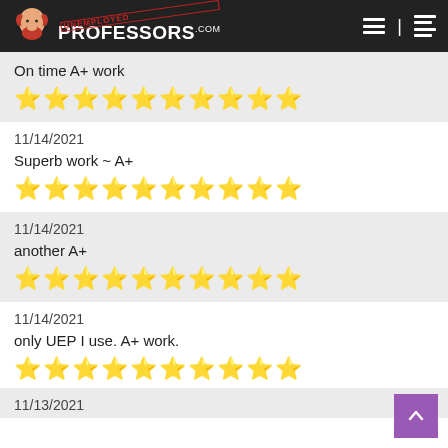UNEMPLOYED PROFESSORS.com
On time A+ work
[Figure (other): 10 green star rating]
11/14/2021
Superb work ~ A+
[Figure (other): 10 green star rating]
11/14/2021
another A+
[Figure (other): 10 green star rating]
11/14/2021
only UEP I use. A+ work.
[Figure (other): 10 green star rating]
11/13/2021